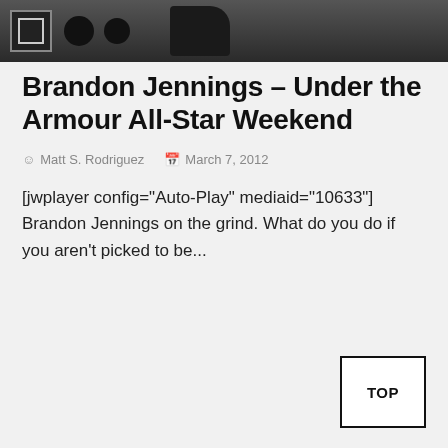[Figure (photo): Dark photographic strip showing sports equipment and a hand/person silhouette against a dark background]
Brandon Jennings – Under the Armour All-Star Weekend
Matt S. Rodriguez   March 7, 2012
[jwplayer config="Auto-Play" mediaid="10633"] Brandon Jennings on the grind. What do you do if you aren't picked to be...
TOP